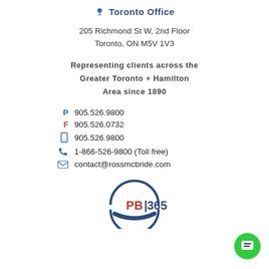Toronto Office
205 Richmond St W, 2nd Floor
Toronto, ON M5V 1V3
Representing clients across the Greater Toronto + Hamilton Area since 1890
P  905.526.9800
F  905.526.0732
[mobile] 905.526.9800
[phone] 1-866-526-9800 (Toll free)
[email] contact@rossmcbride.com
[Figure (logo): PB|365 logo with circular arc design in navy blue, text PB|365 in red and navy]